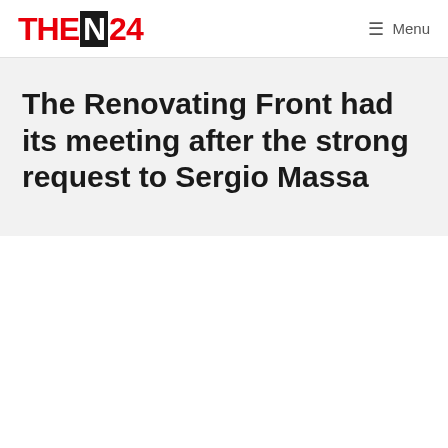THEN24  Menu
The Renovating Front had its meeting after the strong request to Sergio Massa